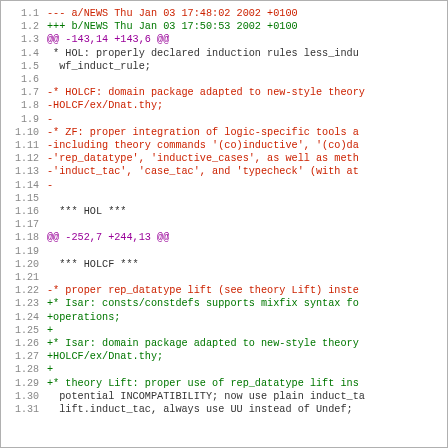Diff output showing changes to NEWS file with line numbers 1.1 through 1.31, including context lines, removed lines (red, starting with -), added lines (green, starting with +), and diff hunk headers (purple, starting with @@).